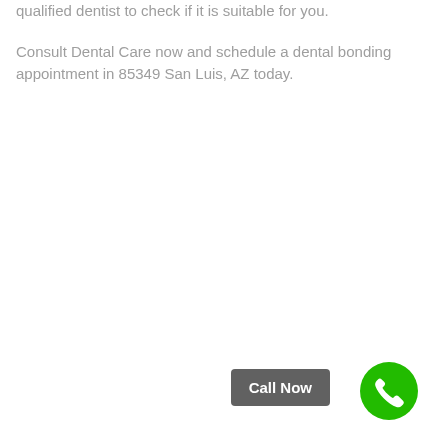qualified dentist to check if it is suitable for you.
Consult Dental Care now and schedule a dental bonding appointment in 85349 San Luis, AZ today.
[Figure (other): Green circular call button icon with white phone handset symbol, and a dark grey 'Call Now' button label next to it at the bottom right of the page.]